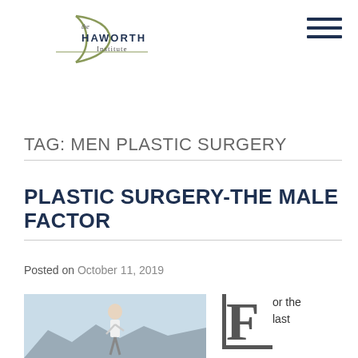the HAWORTH Institute
TAG: MEN PLASTIC SURGERY
PLASTIC SURGERY-THE MALE FACTOR
Posted on October 11, 2019
[Figure (photo): Man in white tank top running outdoors with mountains in background]
or the last